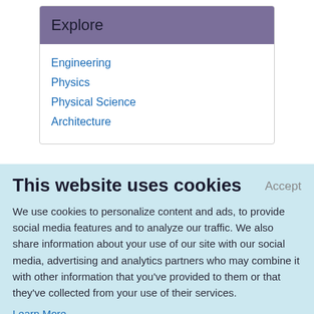Explore
Engineering
Physics
Physical Science
Architecture
This website uses cookies
We use cookies to personalize content and ads, to provide social media features and to analyze our traffic. We also share information about your use of our site with our social media, advertising and analytics partners who may combine it with other information that you've provided to them or that they've collected from your use of their services.
Learn More.
Japanese